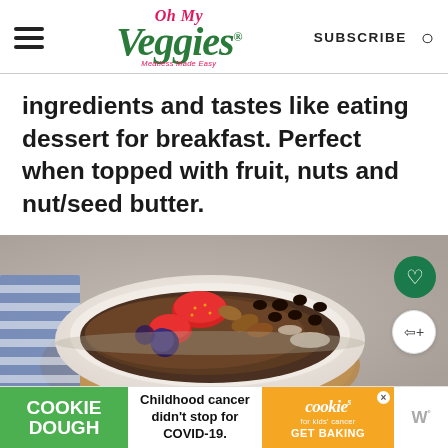Oh My Veggies — Meatless Made Easy | SUBSCRIBE
ingredients and tastes like eating dessert for breakfast. Perfect when topped with fruit, nuts and nut/seed butter.
[Figure (photo): Bowl of chocolate quinoa/oatmeal topped with strawberries, blueberries, chocolate chips, pecans, and coconut flakes on a wooden board with a blue striped napkin]
COOKIE DOUGH | Childhood cancer didn't stop for COVID-19. | cookies for kids' cancer GET BAKING